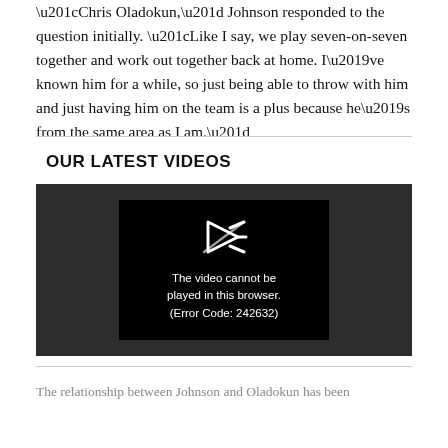“Chris Oladokun,” Johnson responded to the question initially. “Like I say, we play seven-on-seven together and work out together back at home. I’ve known him for a while, so just being able to throw with him and just having him on the team is a plus because he’s from the same area as I am.”
OUR LATEST VIDEOS
[Figure (screenshot): Video player showing error: The video cannot be played in this browser. (Error Code: 242632)]
The relationship between Johnson and Oladokun has been